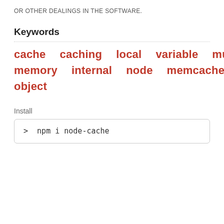OR OTHER DEALINGS IN THE SOFTWARE.
Keywords
cache  caching  local  variable  multi  memory  internal  node  memcached  object
Install
> npm i node-cache